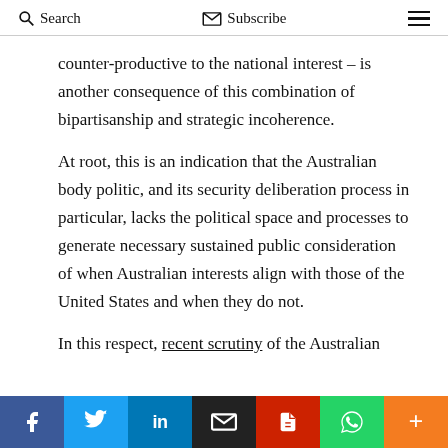Search  Subscribe
counter-productive to the national interest – is another consequence of this combination of bipartisanship and strategic incoherence.
At root, this is an indication that the Australian body politic, and its security deliberation process in particular, lacks the political space and processes to generate necessary sustained public consideration of when Australian interests align with those of the United States and when they do not.
In this respect, recent scrutiny of the Australian